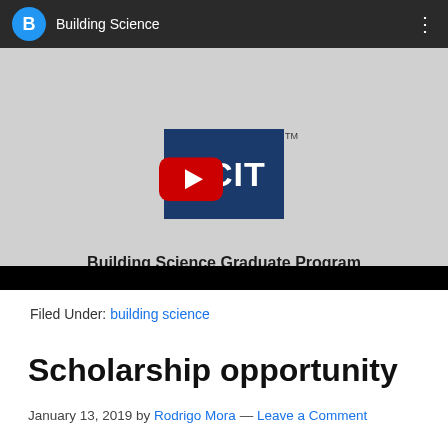[Figure (screenshot): YouTube video thumbnail showing BCIT Building Science Graduate Program. Dark top bar with blue circle avatar labeled 'B', channel name 'Building Science', and three-dot menu. Gray thumbnail area with BCIT logo (dark blue square) and red YouTube play button overlaid. Text below reads 'Building Science Graduate Program' in bold. Black bar at bottom.]
Filed Under: building science
Scholarship opportunity
January 13, 2019 by Rodrigo Mora — Leave a Comment